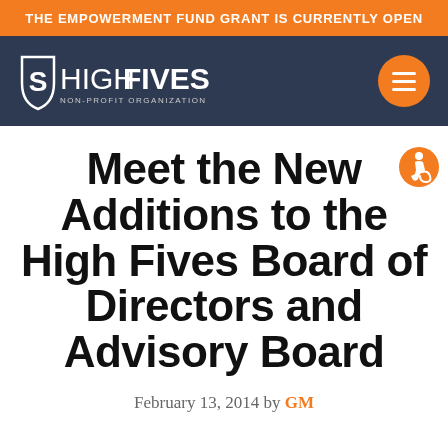THE EMPOWERMENT FUND GRANT IS CURRENTLY OPEN
[Figure (logo): High Fives Non-Profit Organization logo with shield icon and hamburger menu button on dark navy background]
Meet the New Additions to the High Fives Board of Directors and Advisory Board
February 13, 2014 by GM